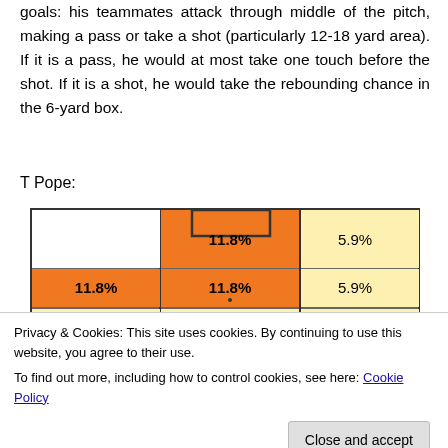goals: his teammates attack through middle of the pitch, making a pass or take a shot (particularly 12-18 yard area). If it is a pass, he would at most take one touch before the shot. If it is a shot, he would take the rebounding chance in the 6-yard box.
T Pope:
[Figure (infographic): Football pitch heatmap showing percentage values in different zones. Central top zone: 11.8% (orange/highlighted). Left middle: 11.8% (orange). Center middle: 11.8% (orange). Right top: 5.9% (light yellow). Right middle: 5.9% (light yellow). Bottom zones partially visible: 5.9% each.]
Privacy & Cookies: This site uses cookies. By continuing to use this website, you agree to their use.
To find out more, including how to control cookies, see here: Cookie Policy